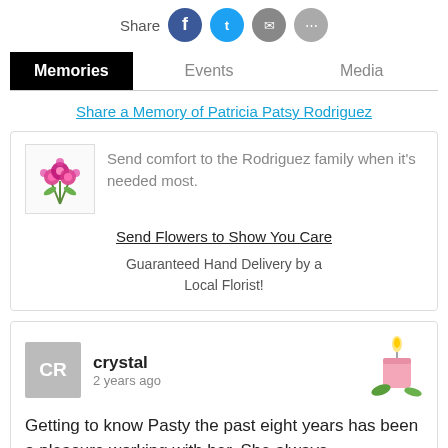[Figure (illustration): Share bar with social media icons: Facebook (blue circle), Twitter (cyan circle), Email (grey circle), Phone/more (grey circle)]
Memories | Events | Media (tab bar, Memories active)
Share a Memory of Patricia Patsy Rodriguez
[Figure (illustration): Flower bouquet advertisement card: flower image, text 'Send comfort to the Rodriguez family when it's needed most.', link 'Send Flowers to Show You Care', text 'Guaranteed Hand Delivery by a Local Florist!']
crystal
2 years ago
Getting to know Pasty the past eight years has been a pleasure working with her. She always
[Figure (illustration): Pink candle with green leaves decoration]